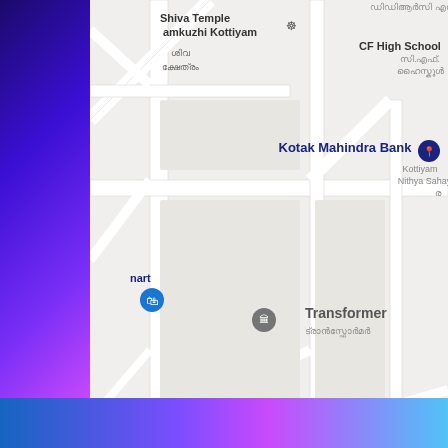[Figure (map): Google Maps screenshot showing Kottiyam area with landmarks including Shiva Temple Kottiyam, CF High School, Kotak Mahindra Bank, Transformer, Indoor Court, and text in Malayalam script. Roads and streets visible on a light grey map background.]
Total Pageviews
[Figure (area-chart): Small sparkline/area chart showing pageview history with jagged peaks and valleys, filled grey area under the line.]
89,153